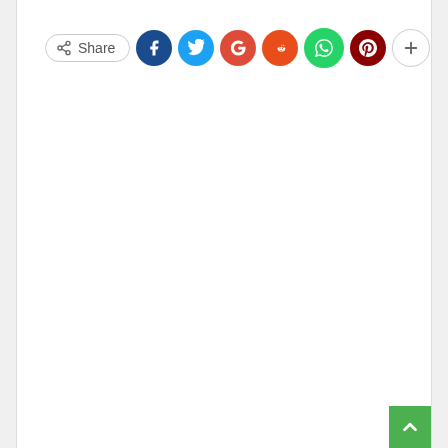[Figure (screenshot): A social media share bar with a 'Share' button followed by circular social media icons: Facebook (dark blue), Twitter (light blue), Google+ (red), Reddit (orange-red), WhatsApp (green), Pinterest (dark red), and a '+' more button (outlined circle).]
[Figure (screenshot): A green scroll-to-top button with an upward arrow chevron icon, positioned at the bottom-right corner of the page.]